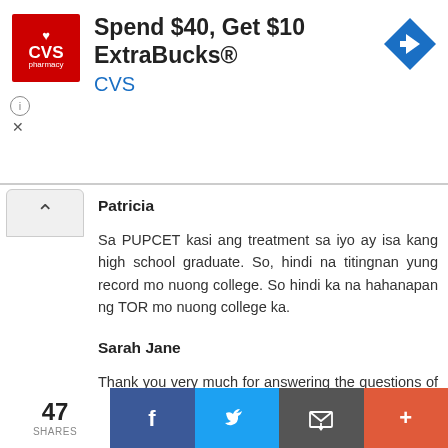[Figure (screenshot): CVS Pharmacy advertisement banner: red CVS pharmacy logo on left, 'Spend $40, Get $10 ExtraBucks®' headline in bold, 'CVS' in blue below, blue navigation arrow icon on right. Info and close (X) icons at bottom left.]
Patricia
Sa PUPCET kasi ang treatment sa iyo ay isa kang high school graduate. So, hindi na titingnan yung record mo nuong college. So hindi ka na hahanapan ng TOR mo nuong college ka.
Sarah Jane
Thank you very much for answering the questions of other people here. Malaki ang naitulong mo.
God bless you.
Reply
47 SHARES